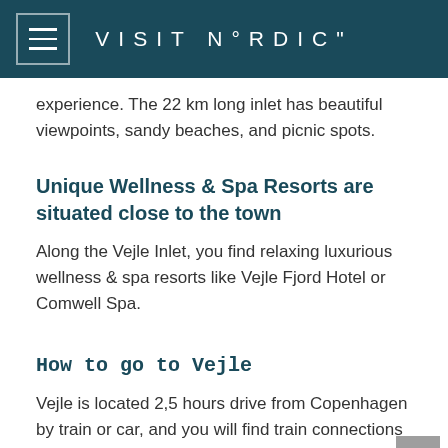VISIT N°RDIC"
experience. The 22 km long inlet has beautiful viewpoints, sandy beaches, and picnic spots.
Unique Wellness & Spa Resorts are situated close to the town
Along the Vejle Inlet, you find relaxing luxurious wellness & spa resorts like Vejle Fjord Hotel or Comwell Spa.
How to go to Vejle
Vejle is located 2,5 hours drive from Copenhagen by train or car, and you will find train connections from Copenhagen and from Billund Airport in